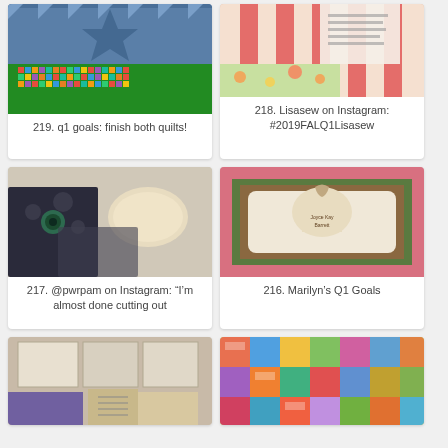[Figure (photo): Quilt with star pattern in blue and a colorful patchwork section below]
219. q1 goals: finish both quilts!
[Figure (photo): Fabric with stripes and floral patterns, showing a page with text]
218. Lisasew on Instagram: #2019FALQ1Lisasew
[Figure (photo): Dark fabric pieces with floral brooch and sewing materials on a light surface]
217. @pwrpam on Instagram: “I’m almost done cutting out
[Figure (photo): Embroidered quilt block with a feed sack motif saying Joyce Kay Barrett, surrounded by pink and green borders]
216. Marilyn’s Q1 Goals
[Figure (photo): Fabric swatches in neutral tones with purple fabric on bottom and a small book or notebook]
[Figure (photo): Colorful patchwork quilt with multicolored square blocks]